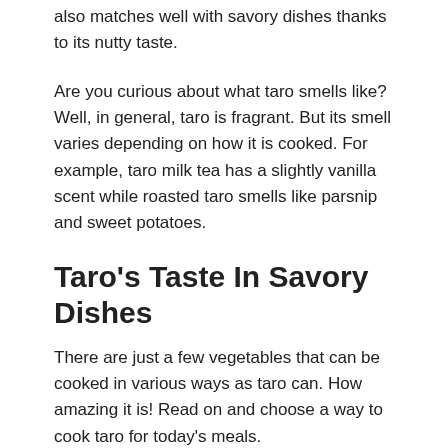also matches well with savory dishes thanks to its nutty taste.
Are you curious about what taro smells like? Well, in general, taro is fragrant. But its smell varies depending on how it is cooked. For example, taro milk tea has a slightly vanilla scent while roasted taro smells like parsnip and sweet potatoes.
Taro’s Taste In Savory Dishes
There are just a few vegetables that can be cooked in various ways as taro can. How amazing it is! Read on and choose a way to cook taro for today’s meals.
Boiling And Steaming